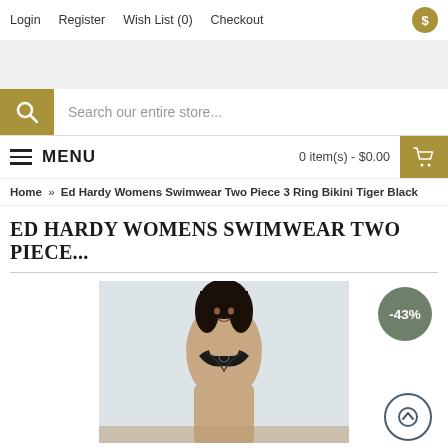Login   Register   Wish List (0)   Checkout
Search our entire store...
MENU   0 item(s) - $0.00
Home » Ed Hardy Womens Swimwear Two Piece 3 Ring Bikini Tiger Black
ED HARDY WOMENS SWIMWEAR TWO PIECE...
[Figure (photo): Product photo of Ed Hardy Womens Swimwear Two Piece 3 Ring Bikini Tiger Black, showing a dark-haired female model wearing the black bikini top against a light background. A -43% discount badge appears in the top right.]